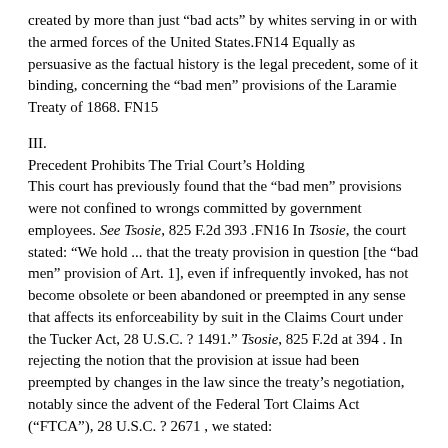created by more than just “bad acts” by whites serving in or with the armed forces of the United States.FN14 Equally as persuasive as the factual history is the legal precedent, some of it binding, concerning the “bad men” provisions of the Laramie Treaty of 1868. FN15
III.
Precedent Prohibits The Trial Court’s Holding
This court has previously found that the “bad men” provisions were not confined to wrongs committed by government employees. See Tsosie, 825 F.2d 393 .FN16 In Tsosie, the court stated: “We hold ... that the treaty provision in question [the “bad men” provision of Art. 1], even if infrequently invoked, has not become obsolete or been abandoned or preempted in any sense that affects its enforceability by suit in the Claims Court under the Tucker Act, 28 U.S.C. ? 1491.” Tsosie, 825 F.2d at 394 . In rejecting the notion that the provision at issue had been preempted by changes in the law since the treaty’s negotiation, notably since the advent of the Federal Tort Claims Act (“FTCA”), 28 U.S.C. ? 2671 , we stated:
[T]he “bad men” provision is not confined to “wrongs” by